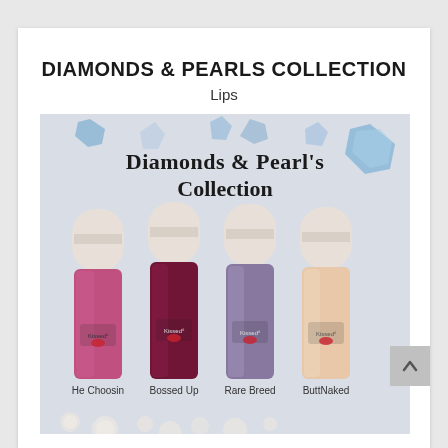DIAMONDS & PEARLS COLLECTION
Lips
[Figure (photo): Product photo showing four lip gloss bottles from the Diamonds & Pearl's Collection with diamond/gem background. The four shades are labeled: He Choosin, Bossed Up, Rare Breed, ButtNaked. Each bottle has a white rounded cap and the brand logo with a red lips icon. Below the bottles, pearl decorations are visible.]